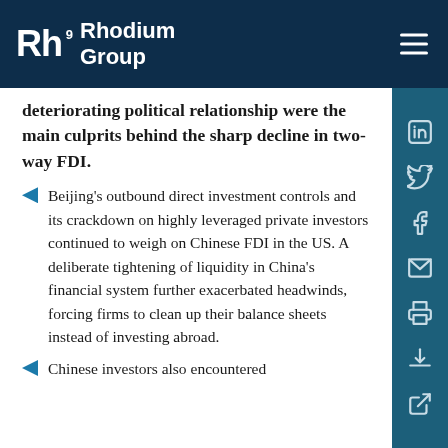Rhodium Group
deteriorating political relationship were the main culprits behind the sharp decline in two-way FDI.
Beijing's outbound direct investment controls and its crackdown on highly leveraged private investors continued to weigh on Chinese FDI in the US. A deliberate tightening of liquidity in China's financial system further exacerbated headwinds, forcing firms to clean up their balance sheets instead of investing abroad.
Chinese investors also encountered